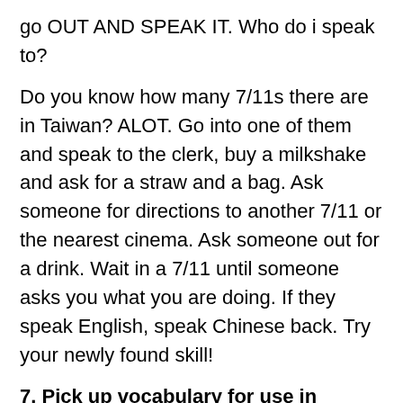go OUT AND SPEAK IT. Who do i speak to?
Do you know how many 7/11s there are in Taiwan? ALOT. Go into one of them and speak to the clerk, buy a milkshake and ask for a straw and a bag. Ask someone for directions to another 7/11 or the nearest cinema. Ask someone out for a drink. Wait in a 7/11 until someone asks you what you are doing. If they speak English, speak Chinese back. Try your newly found skill!
7. Pick up vocabulary for use in common conversation
One thing I will tell you is, in Chinese learning text books there is A LOT of language you are not going to use. You have to make Chinese work for you and how you want to be using it. It's all well and good learning a sentence for ordering a meat feast pizza but if your a vegetarian you probably wont be using that all that often.
If you will be traveling, try and search for travel language